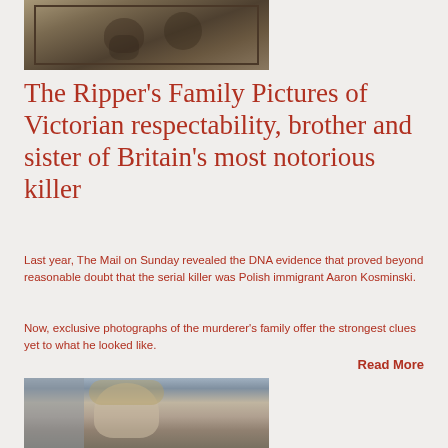[Figure (photo): Sepia-toned Victorian portrait photograph showing two people, framed, with dark border]
The Ripper's Family Pictures of Victorian respectability, brother and sister of Britain's most notorious killer
Last year, The Mail on Sunday revealed the DNA evidence that proved beyond reasonable doubt that the serial killer was Polish immigrant Aaron Kosminski.
Now, exclusive photographs of the murderer's family offer the strongest clues yet to what he looked like.
Read More
[Figure (photo): Color photograph showing a person with medium-length hair, partial view, blurred background]